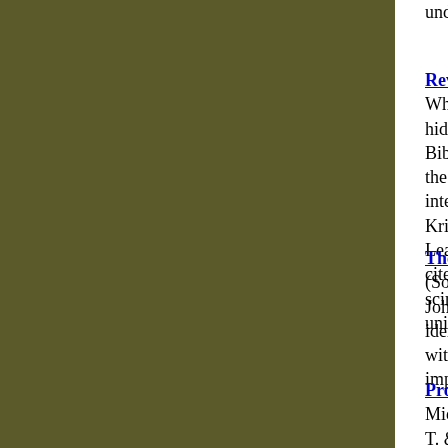understanding of the Fourth Gospel. It is informed scholarship on John but is free of obscure details a
Revelation of St. John: The Path to Soul Initiation (Wheel/Weiser) is a verse-by-verse guide toward understanding hidden within the pregnant symbolical language of the Bible. The author, a Theosophist who is well read in the Alice Bailey Arcane School, as well as some of the interpretations of a revelation, by Charles Fillmore, Krishnamuriti, Mabel Collins, Edgar Cayce, Frits Leadbeater, Helena Blavatsky, Rudolph Stiener, Sy cited esoteric writers like James Pryse. It offers a scintillating commentary into the levels of Soul Initiation universal dream of the Christian epoch. More
The Riddles of Jesus in John: A Study in Tradition (Society of Biblical Literature) At the end of his examination of John's tradition, C. H. Dodd confessed, "I do not admit identifying further traditional material in the Fourth Gospel with the other gospels fails us, without giving undue impressions." More
Prophets, Prophecy, And Prophetic Texts in Second Michael H. Floyd, Robert D. Haak (Library of Hebrew T. & T. Clark Publishers) This volume grew out of the Texts and Their Ancient Contexts" (PTAC) group Society of Biblical Literature in Atlanta. Yairah Am Lange, Christoph Levin, Martti Nissinen, and I pr that became the core of the collection. Pancratius Cohen, Lester Grabbe, John Kessler, John Levison invited to contribute essays, so that the stated the